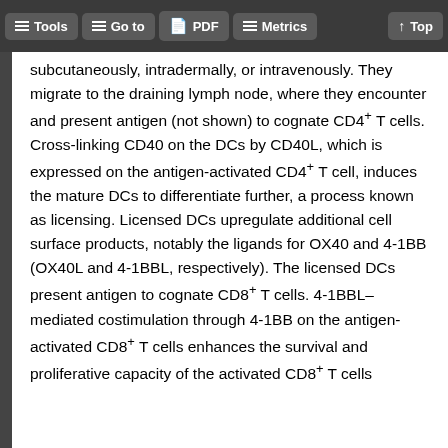Tools  Go to  PDF  Metrics  Top
subcutaneously, intradermally, or intravenously. They migrate to the draining lymph node, where they encounter and present antigen (not shown) to cognate CD4+ T cells. Cross-linking CD40 on the DCs by CD40L, which is expressed on the antigen-activated CD4+ T cell, induces the mature DCs to differentiate further, a process known as licensing. Licensed DCs upregulate additional cell surface products, notably the ligands for OX40 and 4-1BB (OX40L and 4-1BBL, respectively). The licensed DCs present antigen to cognate CD8+ T cells. 4-1BBL–mediated costimulation through 4-1BB on the antigen-activated CD8+ T cells enhances the survival and proliferative capacity of the activated CD8+ T cells